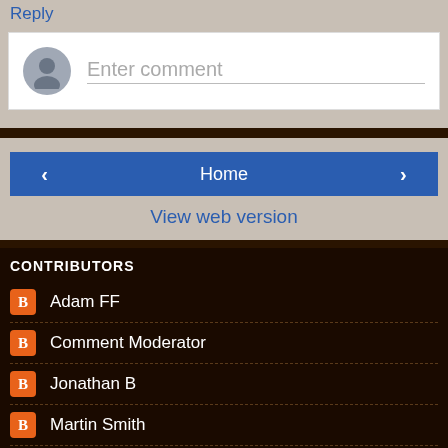Reply
Enter comment
Home
View web version
CONTRIBUTORS
Adam FF
Comment Moderator
Jonathan B
Martin Smith
PJM
Seani
Tom Chivers